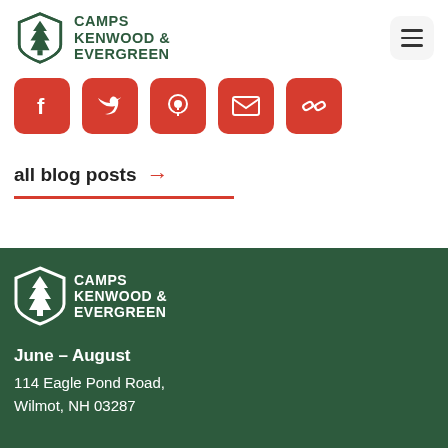[Figure (logo): Camps Kenwood & Evergreen logo with pine tree in shield, dark green, top left]
[Figure (other): Hamburger menu button, top right]
[Figure (other): Row of 5 red social media icon buttons: Facebook, Twitter, Pinterest, Email, Link]
all blog posts →
[Figure (logo): Camps Kenwood & Evergreen logo white on dark green footer]
June – August
114 Eagle Pond Road,
Wilmot, NH 03287